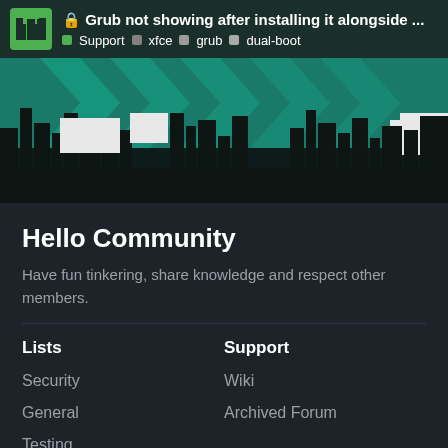🔒 Grub not showing after installing it alongside … | Support | xfce | grub | dual-boot
[Figure (illustration): Banner with teal/dark cityscape silhouette and chevron arrow pattern]
Hello Community
Have fun tinkering, share knowledge and respect other members.
Lists
Security
General
Testing
Development
Mirrors
Support
Wiki
Archived Forum